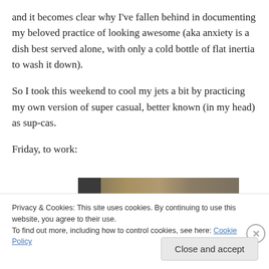and it becomes clear why I've fallen behind in documenting my beloved practice of looking awesome (aka anxiety is a dish best served alone, with only a cold bottle of flat inertia to wash it down).
So I took this weekend to cool my jets a bit by practicing my own version of super casual, better known (in my head) as sup-cas.
Friday, to work:
[Figure (photo): Partial view of a photo showing a dark-colored and tan/beige outfit or clothing item, partially obscured by the cookie banner.]
Privacy & Cookies: This site uses cookies. By continuing to use this website, you agree to their use.
To find out more, including how to control cookies, see here: Cookie Policy
Close and accept